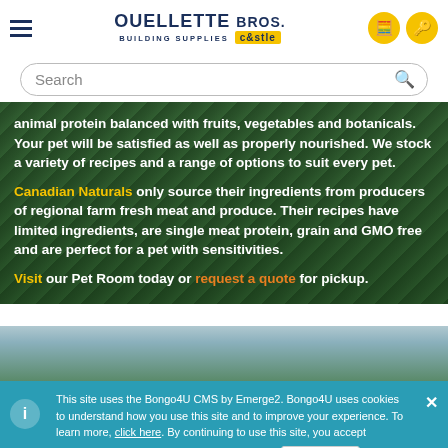Ouellette Bros. Building Supplies | Castle
animal protein balanced with fruits, vegetables and botanicals. Your pet will be satisfied as well as properly nourished. We stock a variety of recipes and a range of options to suit every pet.
Canadian Naturals only source their ingredients from producers of regional farm fresh meat and produce. Their recipes have limited ingredients, are single meat protein, grain and GMO free and are perfect for a pet with sensitivities.
Visit our Pet Room today or request a quote for pickup.
This site uses the Bongo4U CMS by Emerge2. Bongo4U uses cookies to understand how you use this site and to improve your experience. To learn more, click here. By continuing to use this site, you accept Emerge2's Cookie Policy and Privacy Policy:
I agree